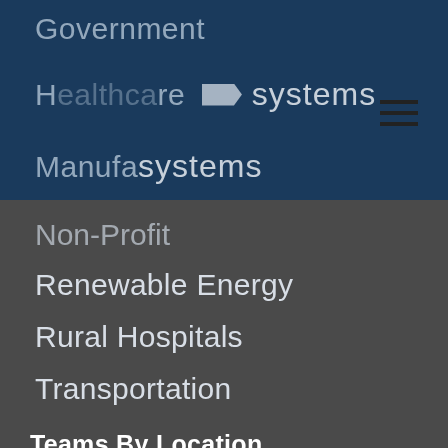Government
Healthcare
Manufacturing systems
Non-Profit
Renewable Energy
Rural Hospitals
Transportation
Teams By Location
Colorado
Georgia
Iowa
Kansas | Missouri
Nebraska